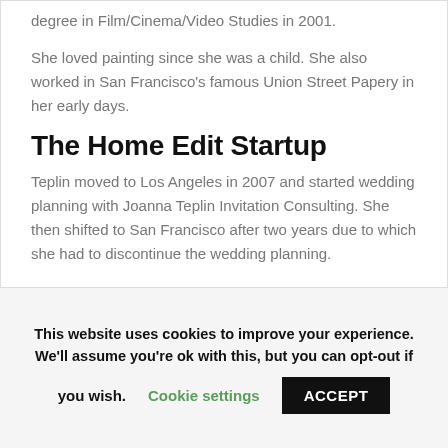degree in Film/Cinema/Video Studies in 2001.
She loved painting since she was a child. She also worked in San Francisco's famous Union Street Papery in her early days.
The Home Edit Startup
Teplin moved to Los Angeles in 2007 and started wedding planning with Joanna Teplin Invitation Consulting. She then shifted to San Francisco after two years due to which she had to discontinue the wedding planning.
This website uses cookies to improve your experience. We'll assume you're ok with this, but you can opt-out if you wish. Cookie settings ACCEPT